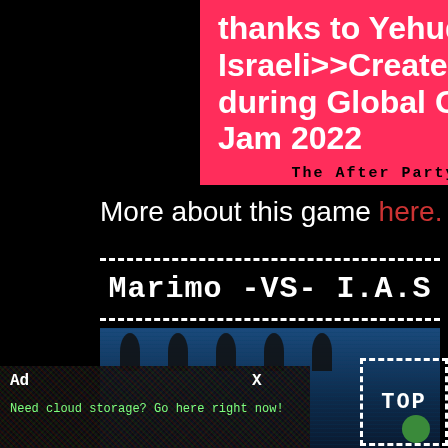thanks to Yehuda Israeli>>Created during Global Game Jam 2022
The After Party
More about this game here.
Marimo -VS- I.A.S
[Figure (screenshot): Game screenshot showing dark blue underwater scene with silhouetted figures]
Ad
X
Need cloud storage? Go here right now!
TOP